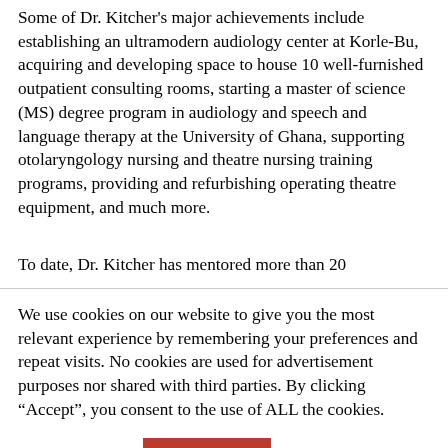Some of Dr. Kitcher's major achievements include establishing an ultramodern audiology center at Korle-Bu, acquiring and developing space to house 10 well-furnished outpatient consulting rooms, starting a master of science (MS) degree program in audiology and speech and language therapy at the University of Ghana, supporting otolaryngology nursing and theatre nursing training programs, providing and refurbishing operating theatre equipment, and much more.
To date, Dr. Kitcher has mentored more than 20
We use cookies on our website to give you the most relevant experience by remembering your preferences and repeat visits. No cookies are used for advertisement purposes nor shared with third parties. By clicking “Accept”, you consent to the use of ALL the cookies.
Cookie settings | Accept